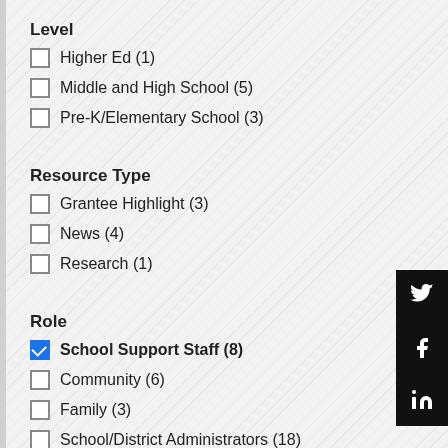Level
Higher Ed (1)
Middle and High School (5)
Pre-K/Elementary School (3)
Resource Type
Grantee Highlight (3)
News (4)
Research (1)
Role
School Support Staff (8)
Community (6)
Family (3)
School/District Administrators (18)
State Administrators (7)